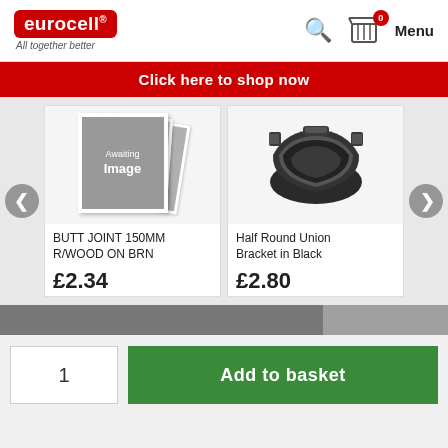[Figure (logo): Eurocell logo with red rounded rectangle background, white text 'eurocell.' and tagline 'All together better']
[Figure (screenshot): Header navigation icons: search magnifier, shopping basket with badge showing '0', and Menu text]
Click here to shop now
[Figure (photo): Awaiting Image placeholder showing stacked polaroid-style photos with grey graphic]
BUTT JOINT 150MM R/WOOD ON BRN
£2.34
[Figure (photo): Photo of Half Round Union Bracket in Black - a dark plastic gutter joining bracket]
Half Round Union Bracket in Black
£2.80
1
Add to basket